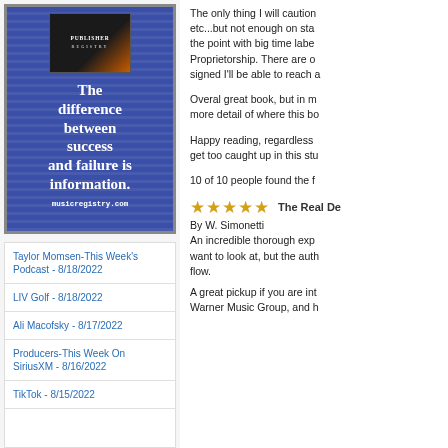[Figure (advertisement): Music Registry book advertisement with blue striped background. Shows a book cover image and text: 'The difference between success and failure is information.' and URL 'musicregistry.com']
Taylor Momsen-This Week's Podcast - 8/18/2022
LIV Golf - 8/18/2022
Ali Macofsky - 8/17/2022
Producers-This Week On SiriusXM - 8/16/2022
TikTok - 8/15/2022
The only thing I will caution etc...but not enough on sta the point with big time labe Proprietorship. There are o signed I'll be able to reach
Overal great book, but in m more detail of where this bo
Happy reading, regardless get too caught up in this st
10 of 10 people found the f
The Real De
By W. Simonetti
An incredible thorough exp want to look at, but the auth flow.
A great pickup if you are int Warner Music Group, and h